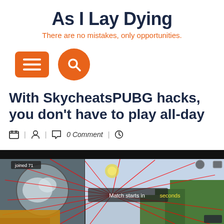As I Lay Dying
There are no mistakes, only opportunities.
[Figure (screenshot): Orange hamburger menu button (rounded rectangle) and orange circular search button with magnifying glass icon]
With SkycheatsPUBG hacks, you don’t have to play all-day
0 Comment
[Figure (screenshot): PUBG game screenshot showing a map view and gameplay with red aimbot lines radiating from the center, trees and game HUD visible, text 'Match starts in seconds']